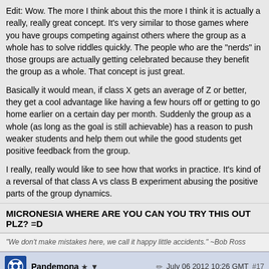Edit: Wow. The more I think about this the more I think it is actually a really, really great concept. It's very similar to those games where you have groups competing against others where the group as a whole has to solve riddles quickly. The people who are the "nerds" in those groups are actually getting celebrated because they benefit the group as a whole. That concept is just great.

Basically it would mean, if class X gets an average of Z or better, they get a cool advantage like having a few hours off or getting to go home earlier on a certain day per month. Suddenly the group as a whole (as long as the goal is still achievable) has a reason to push weaker students and help them out while the good students get positive feedback from the group.

I really, really would like to see how that works in practice. It's kind of a reversal of that class A vs class B experiment abusing the positive parts of the group dynamics.
MICRONESIA WHERE ARE YOU CAN YOU TRY THIS OUT PLZ? =D
"We don't make mistakes here, we call it happy little accidents." ~Bob Ross
Pandemona ★ ▼   July 06 2012 10:26 GMT  #17
We use cookies on our website. Some information may be shared with 3rd parties.  Accept Cookies  More Information